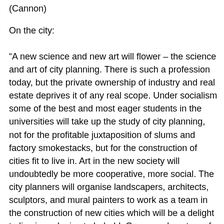(Cannon)
On the city:
“A new science and new art will flower – the science and art of city planning. There is such a profession today, but the private ownership of industry and real estate deprives it of any real scope. Under socialism some of the best and most eager students in the universities will take up the study of city planning, not for the profitable juxtaposition of slums and factory smokestacks, but for the construction of cities fit to live in. Art in the new society will undoubtedly be more cooperative, more social. The city planners will organise landscapers, architects, sculptors, and mural painters to work as a team in the construction of new cities which will be a delight to live in and a joy to behold. Communal centres of all kinds will arise to serve the